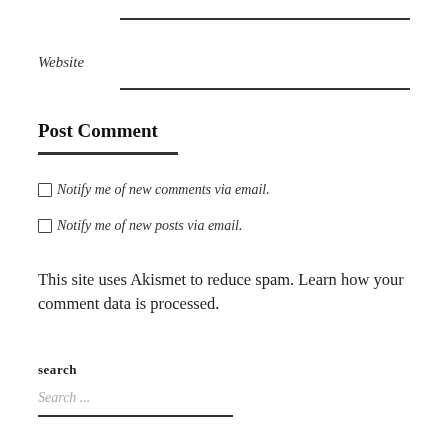Website
Post Comment
Notify me of new comments via email.
Notify me of new posts via email.
This site uses Akismet to reduce spam. Learn how your comment data is processed.
search
Search ...